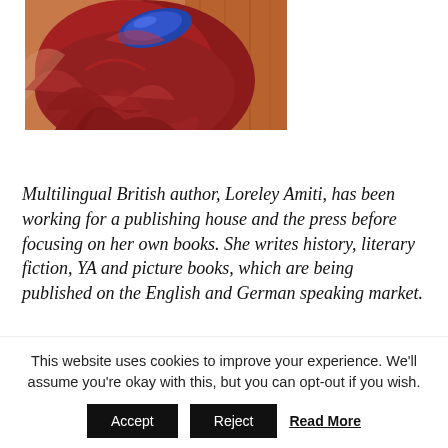[Figure (photo): Close-up of a person with long red wavy hair and a blue hair accessory/highlight, photographed from behind/side angle against a warm background.]
Multilingual British author, Loreley Amiti, has been working for a publishing house and the press before focusing on her own books. She writes history, literary fiction, YA and picture books, which are being published on the English and German speaking market.
This website uses cookies to improve your experience. We'll assume you're okay with this, but you can opt-out if you wish.
Accept   Reject   Read More